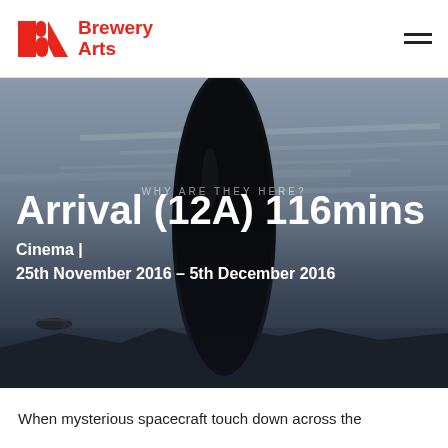Brewery Arts
[Figure (photo): Movie promotional image for Arrival showing a large dark elongated alien spacecraft/monolith against a moody sky with clouds, with text overlay 'WHY ARE THEY HERE?' and a helicopter visible in the lower left]
Arrival (12A) 116mins
Cinema |
25th November 2016 – 5th December 2016
When mysterious spacecraft touch down across the